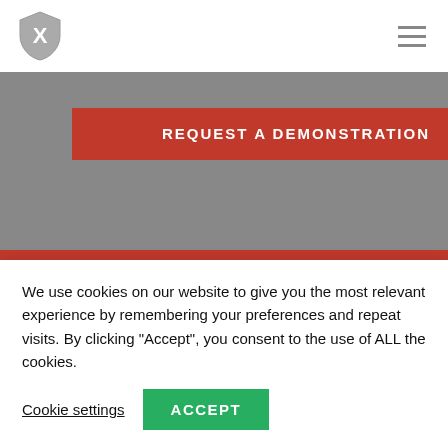[Figure (logo): Shield logo with X emblem in gray/white, top left navigation bar]
[Figure (illustration): Hamburger menu icon (three horizontal lines) in gray, top right]
[Figure (screenshot): Gray background section with red 'REQUEST A DEMONSTRATION' button]
[Figure (screenshot): Red banner strip across page]
[Figure (screenshot): Red ad strip with person thumbnail labeled DEMO, text 'Lower Your Inventory Shrinkage / Learn more about X-Sensor's Asset', and monitor icon on right]
We use cookies on our website to give you the most relevant experience by remembering your preferences and repeat visits. By clicking “Accept”, you consent to the use of ALL the cookies.
Cookie settings
ACCEPT